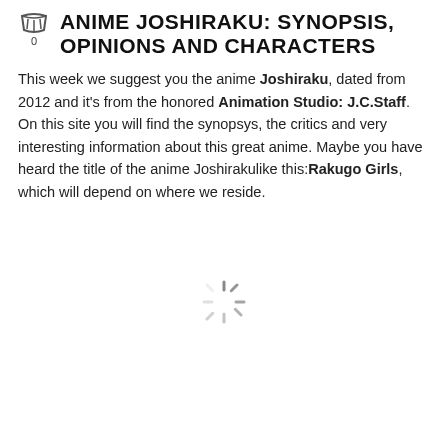ANIME JOSHIRAKU: SYNOPSIS, OPINIONS AND CHARACTERS
This week we suggest you the anime Joshiraku, dated from 2012 and it's from the honored Animation Studio: J.C.Staff.
On this site you will find the synopsys, the critics and very interesting information about this great anime. Maybe you have heard the title of the anime Joshirakulike this: Rakugo Girls, which will depend on where we reside.
[Figure (other): Loading spinner icon (circular dashed spinner graphic)]